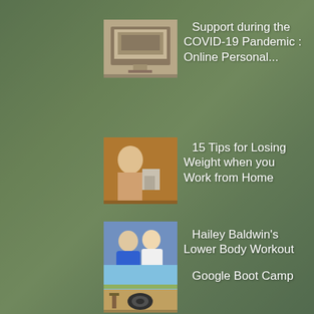[Figure (photo): Laptop on a stand near a window with natural light — online personal training setup]
Support during the COVID-19 Pandemic : Online Personal...
[Figure (photo): Woman with child looking at a tablet or screen in a gym-like setting]
15 Tips for Losing Weight when you Work from Home
[Figure (photo): Two people (man in blue hoodie and woman in white) walking on a street — Hailey Baldwin workout related]
Hailey Baldwin's Lower Body Workout
[Figure (photo): Outdoor boot camp area with a tire on the ground and exercise equipment, open field background]
Google Boot Camp